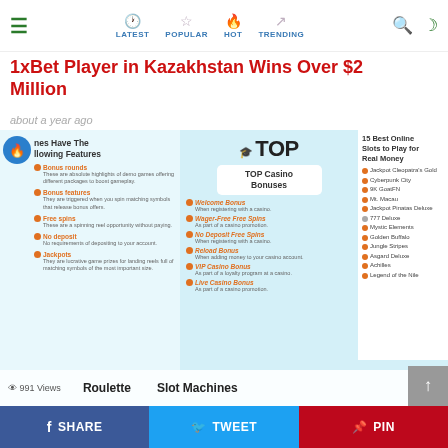LATEST | POPULAR | HOT | TRENDING
1xBet Player in Kazakhstan Wins Over $2 Million
about a year ago
[Figure (infographic): Casino infographic showing: Left panel - games with features (bonus rounds, bonus features, free spins, no deposit, jackpots). Center panel - TOP Casino Bonuses list (Welcome Bonus, Wager-Free Free Spins, No Deposit Free Spins, Reload Bonus, VIP Casino Bonus, Live Casino Bonus). Right panel - 15 Best Online Slots to Play for Real Money (Jackpot Cleopatra's Gold, Cyberpunk City, 9K GoatFN, Mt. Macau, Jackpot Pinatas Deluxe, 777 Deluxe, Mystic Elements, Golden Buffalo, Jungle Stripes, Asgard Deluxe, Achilles, Legend of the Nile). Bottom bar shows 991 Views, Roulette, Slot Machines.]
SHARE | TWEET | PIN